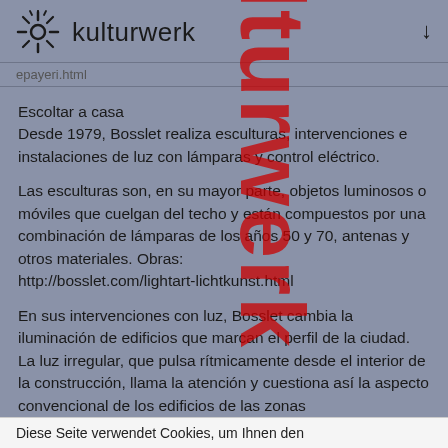kulturwerk
epayeri.html
Escoltar a casa
Desde 1979, Bosslet realiza esculturas, intervenciones e instalaciones de luz con lámparas y control eléctrico.
Las esculturas son, en su mayor parte, objetos luminosos o móviles que cuelgan del techo y están compuestos por una combinación de lámparas de los años 50 y 70, antenas y otros materiales. Obras: http://bosslet.com/lightart-lichtkunst.html
En sus intervenciones con luz, Bosslet cambia la iluminación de edificios que marcan el perfil de la ciudad. La luz irregular, que pulsa rítmicamente desde el interior de la construcción, llama la atención y cuestiona así la aspecto convencional de los edificios de las zonas ...
Diese Seite verwendet Cookies, um Ihnen den